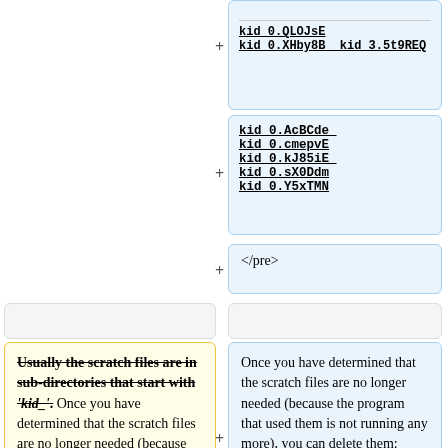kid_0.QLOJsE  kid_0.XHby8B  kid_3.5t9REQ (underlined, bold, code)
kid_0.AcBCde  kid_0.cmepvE  kid_0.kJ85iE  kid_0.sX0Ddm  kid_0.Y5xTMN (underlined, bold, code)
</pre>
Usually the scratch files are in sub-directories that start with 'kid_'. Once you have determined that the scratch files are no longer needed (because the program that used them is not running any more), you can delete them by typing
Once you have determined that the scratch files are no longer needed (because the program that used them is not running any more), you can delete them: